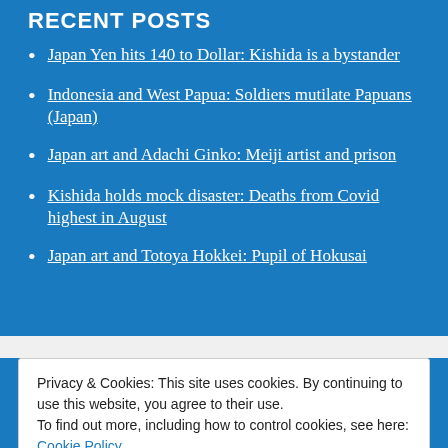RECENT POSTS
Japan Yen hits 140 to Dollar: Kishida is a bystander
Indonesia and West Papua: Soldiers mutilate Papuans (Japan)
Japan art and Adachi Ginko: Meiji artist and prison
Kishida holds mock disaster: Deaths from Covid highest in August
Japan art and Totoya Hokkei: Pupil of Hokusai
Privacy & Cookies: This site uses cookies. By continuing to use this website, you agree to their use.
To find out more, including how to control cookies, see here: Cookie Policy
Close and accept
po...